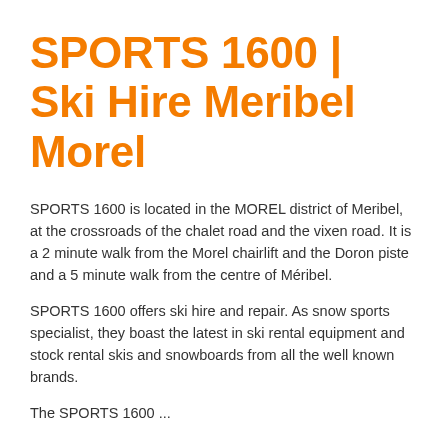SPORTS 1600 | Ski Hire Meribel Morel
SPORTS 1600 is located in the MOREL district of Meribel, at the crossroads of the chalet road and the vixen road. It is a 2 minute walk from the Morel chairlift and the Doron piste and a 5 minute walk from the centre of Méribel.
SPORTS 1600 offers ski hire and repair. As snow sports specialist, they boast the latest in ski rental equipment and stock rental skis and snowboards from all the well known brands.
The SPORTS 1600 ...